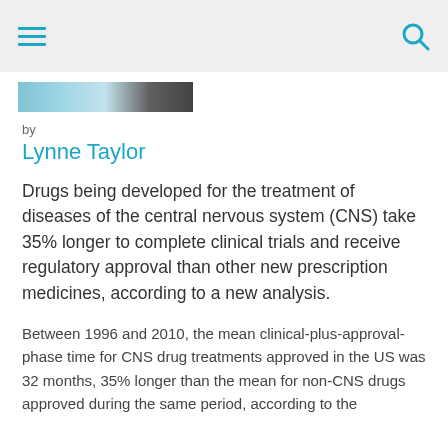[Figure (screenshot): Top navigation bar with hamburger menu icon on left and search icon on right, light grey background]
[Figure (photo): Partial image strip showing a blurred photo, teal/blue tones]
by
Lynne Taylor
Drugs being developed for the treatment of diseases of the central nervous system (CNS) take 35% longer to complete clinical trials and receive regulatory approval than other new prescription medicines, according to a new analysis.
Between 1996 and 2010, the mean clinical-plus-approval-phase time for CNS drug treatments approved in the US was 32 months, 35% longer than the mean for non-CNS drugs approved during the same period, according to the